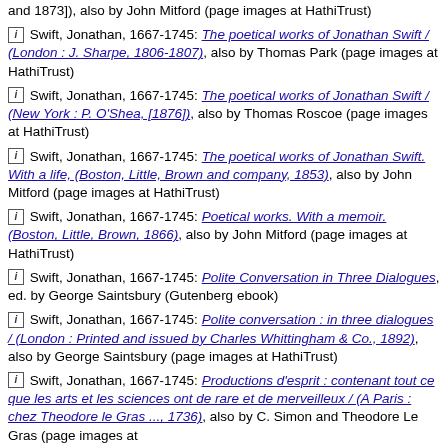and 1873]), also by John Mitford (page images at HathiTrust)
[i] Swift, Jonathan, 1667-1745: The poetical works of Jonathan Swift / (London : J. Sharpe, 1806-1807), also by Thomas Park (page images at HathiTrust)
[i] Swift, Jonathan, 1667-1745: The poetical works of Jonathan Swift / (New York : P. O'Shea, [1876]), also by Thomas Roscoe (page images at HathiTrust)
[i] Swift, Jonathan, 1667-1745: The poetical works of Jonathan Swift. With a life, (Boston, Little, Brown and company, 1853), also by John Mitford (page images at HathiTrust)
[i] Swift, Jonathan, 1667-1745: Poetical works. With a memoir. (Boston, Little, Brown, 1866), also by John Mitford (page images at HathiTrust)
[i] Swift, Jonathan, 1667-1745: Polite Conversation in Three Dialogues, ed. by George Saintsbury (Gutenberg ebook)
[i] Swift, Jonathan, 1667-1745: Polite conversation : in three dialogues / (London : Printed and issued by Charles Whittingham & Co., 1892), also by George Saintsbury (page images at HathiTrust)
[i] Swift, Jonathan, 1667-1745: Productions d'esprit : contenant tout ce que les arts et les sciences ont de rare et de merveilleux / (A Paris : chez Theodore le Gras ..., 1736), also by C. Simon and Theodore Le Gras (page images at